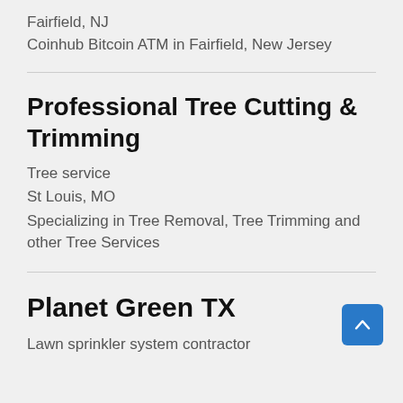Fairfield, NJ
Coinhub Bitcoin ATM in Fairfield, New Jersey
Professional Tree Cutting & Trimming
Tree service
St Louis, MO
Specializing in Tree Removal, Tree Trimming and other Tree Services
Planet Green TX
Lawn sprinkler system contractor